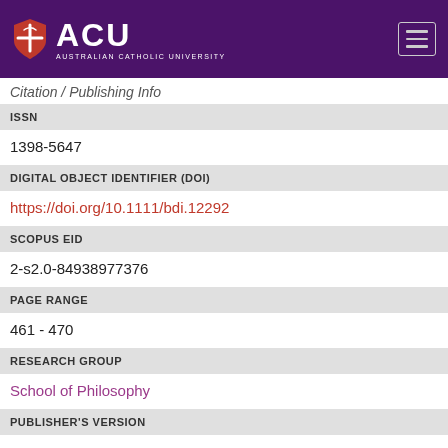ACU AUSTRALIAN CATHOLIC UNIVERSITY
Citation/Publishing Info
ISSN
1398-5647
DIGITAL OBJECT IDENTIFIER (DOI)
https://doi.org/10.1111/bdi.12292
SCOPUS EID
2-s2.0-84938977376
PAGE RANGE
461 - 470
RESEARCH GROUP
School of Philosophy
PUBLISHER'S VERSION